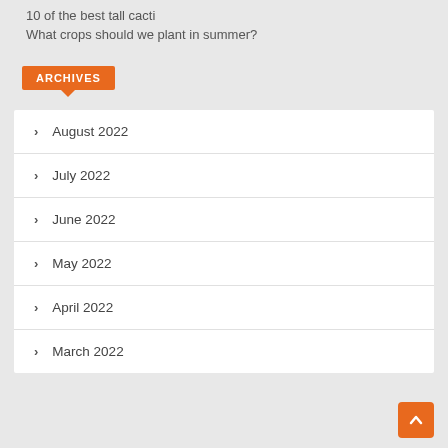10 of the best tall cacti
What crops should we plant in summer?
ARCHIVES
August 2022
July 2022
June 2022
May 2022
April 2022
March 2022